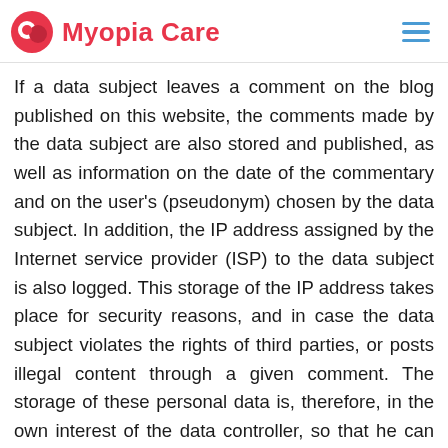Myopia Care
If a data subject leaves a comment on the blog published on this website, the comments made by the data subject are also stored and published, as well as information on the date of the commentary and on the user's (pseudonym) chosen by the data subject. In addition, the IP address assigned by the Internet service provider (ISP) to the data subject is also logged. This storage of the IP address takes place for security reasons, and in case the data subject violates the rights of third parties, or posts illegal content through a given comment. The storage of these personal data is, therefore, in the own interest of the data controller, so that he can exculpate in the event of an infringement. This collected personal data will not be passed to third parties, unless such a transfer is required by law or serves the aim of the defense of the data